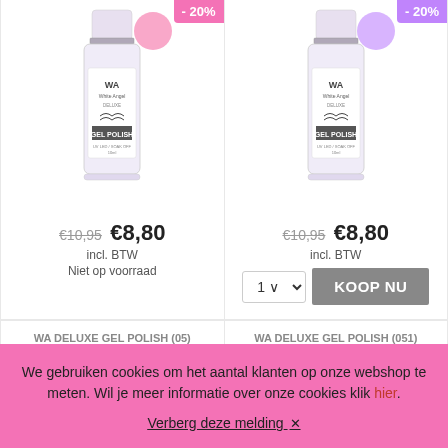[Figure (photo): White nail polish bottle - WA White Angel Deluxe Gel Polish with pink discount badge showing -20% and pink color swatch circle]
€10,95  €8,80
incl. BTW
Niet op voorraad
[Figure (photo): White nail polish bottle - WA White Angel Deluxe Gel Polish with purple discount badge showing -20% and lavender color swatch circle]
€10,95  €8,80
incl. BTW
1  KOOP NU
WA DELUXE GEL POLISH (05) NIGHT CLUB 10ML
WA DELUXE GEL POLISH (051) ROOT BEER 10ML
We gebruiken cookies om het aantal klanten op onze webshop te meten. Wil je meer informatie over onze cookies klik hier.
Verberg deze melding ×